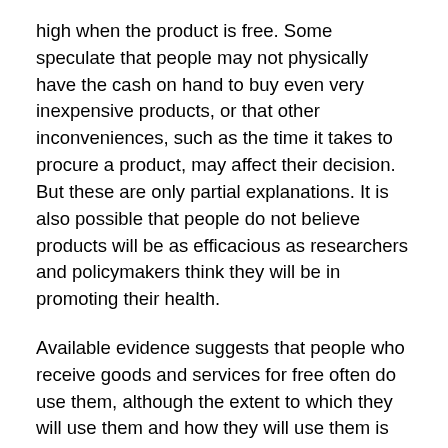high when the product is free. Some speculate that people may not physically have the cash on hand to buy even very inexpensive products, or that other inconveniences, such as the time it takes to procure a product, may affect their decision. But these are only partial explanations. It is also possible that people do not believe products will be as efficacious as researchers and policymakers think they will be in promoting their health.
Available evidence suggests that people who receive goods and services for free often do use them, although the extent to which they will use them and how they will use them is subject to some debate. Even if there are large benefits to providing free bednets, water disinfectant, soap and the like, products that often provide benefits that extend beyond the individual recipient, the question of sustainability comes to the fore. In the short term, the